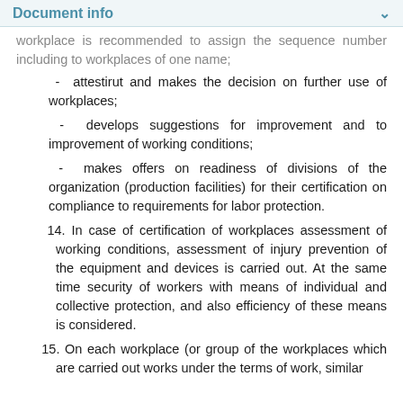Document info
workplace is recommended to assign the sequence number including to workplaces of one name;
- attestirut and makes the decision on further use of workplaces;
- develops suggestions for improvement and to improvement of working conditions;
- makes offers on readiness of divisions of the organization (production facilities) for their certification on compliance to requirements for labor protection.
14. In case of certification of workplaces assessment of working conditions, assessment of injury prevention of the equipment and devices is carried out. At the same time security of workers with means of individual and collective protection, and also efficiency of these means is considered.
15. On each workplace (or group of the workplaces which are carried out works under the terms of work, similar